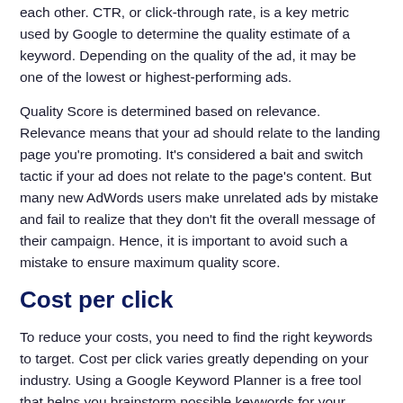each other. CTR, or click-through rate, is a key metric used by Google to determine the quality estimate of a keyword. Depending on the quality of the ad, it may be one of the lowest or highest-performing ads.
Quality Score is determined based on relevance. Relevance means that your ad should relate to the landing page you're promoting. It's considered a bait and switch tactic if your ad does not relate to the page's content. But many new AdWords users make unrelated ads by mistake and fail to realize that they don't fit the overall message of their campaign. Hence, it is important to avoid such a mistake to ensure maximum quality score.
Cost per click
To reduce your costs, you need to find the right keywords to target. Cost per click varies greatly depending on your industry. Using a Google Keyword Planner is a free tool that helps you brainstorm possible keywords for your business.